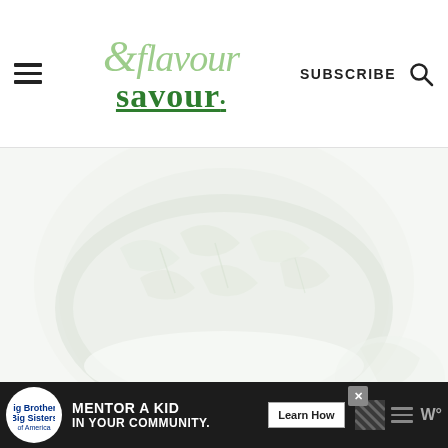& flavour savour — SUBSCRIBE
[Figure (photo): Overhead photo of a bowl of salad with leafy greens and vegetables, very light/washed out appearance]
This post contains affiliate links. If you click on any of the affiliate links and make a purchase, ...
[Figure (other): Advertisement banner: Big Brothers Big Sisters logo — MENTOR A KID IN YOUR COMMUNITY. Learn How button.]